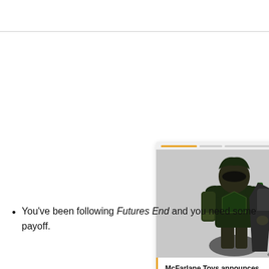[Figure (screenshot): A card/widget showing two action figures (Green Arrow and Batman in dark armor) from McFarlane Toys Injustice 2 line, with a progress bar at top, close (X) button, forward arrow button, and a title overlay: 'McFarlane Toys announces 7-inch Injustice 2 Page Punch...']
You've been following Futures End and you need some payoff.